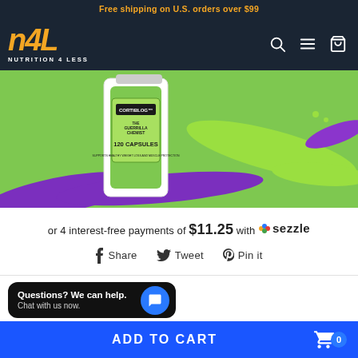Free shipping on U.S. orders over $99
[Figure (logo): N4L Nutrition 4 Less logo in orange on dark navy background with search, menu, and cart icons]
[Figure (photo): Product photo of Gorilla Mind Cortiblog 120 Capsules bottle with green and purple paint splashes on green background]
or 4 interest-free payments of $11.25 with Sezzle
Share   Tweet   Pin it
Questions? We can help. Chat with us now.
ADD TO CART